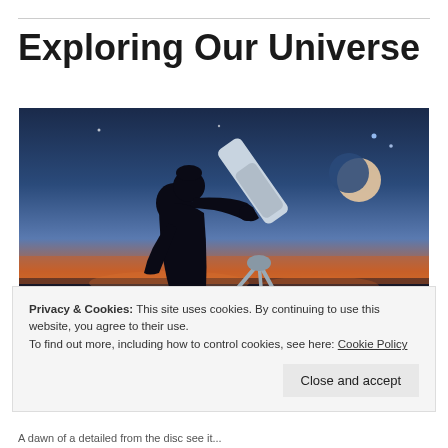Exploring Our Universe
[Figure (photo): Silhouette of a person looking through a telescope on a tripod against a twilight sky with a crescent moon visible]
Privacy & Cookies: This site uses cookies. By continuing to use this website, you agree to their use.
To find out more, including how to control cookies, see here: Cookie Policy
Close and accept
A dawn of a detailed from the disc see it...